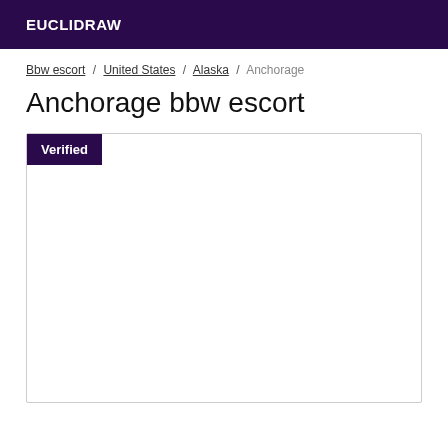EUCLIDRAW
Bbw escort / United States / Alaska / Anchorage
Anchorage bbw escort
[Figure (other): Listing card with a Verified badge in the top-left corner and empty white content area below]